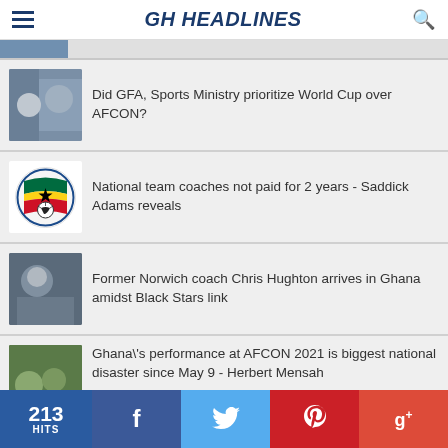GH HEADLINES
Did GFA, Sports Ministry prioritize World Cup over AFCON?
National team coaches not paid for 2 years - Saddick Adams reveals
Former Norwich coach Chris Hughton arrives in Ghana amidst Black Stars link
Ghana\'s performance at AFCON 2021 is biggest national disaster since May 9 - Herbert Mensah
213 HITS | f | tw | p | g+